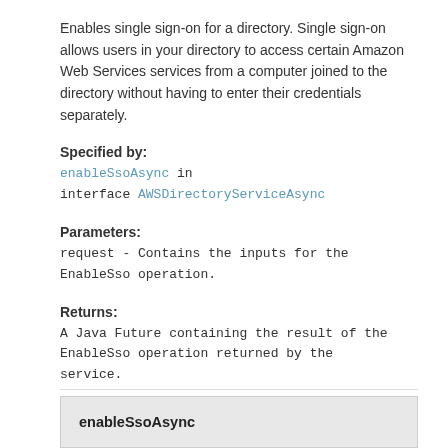Enables single sign-on for a directory. Single sign-on allows users in your directory to access certain Amazon Web Services services from a computer joined to the directory without having to enter their credentials separately.
Specified by:
enableSsoAsync in interface AWSDirectoryServiceAsync
Parameters:
request - Contains the inputs for the EnableSso operation.
Returns:
A Java Future containing the result of the EnableSso operation returned by the service.
See Also:
AWS API Documentation
enableSsoAsync